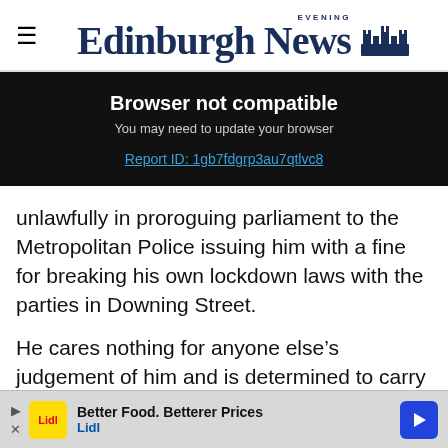Edinburgh Evening News
[Figure (screenshot): Browser not compatible warning banner. Title: 'Browser not compatible'. Subtitle: 'You may need to update your browser'. Link: 'Report ID: 1gb7fdgrp3au7qtlvc8']
unlawfully in proroguing parliament to the Metropolitan Police issuing him with a fine for breaking his own lockdown laws with the parties in Downing Street.
He cares nothing for anyone else’s judgement of him and is determined to carry on regardless.
[Figure (other): Lidl advertisement banner: 'Better Food. Betterer Prices Lidl']